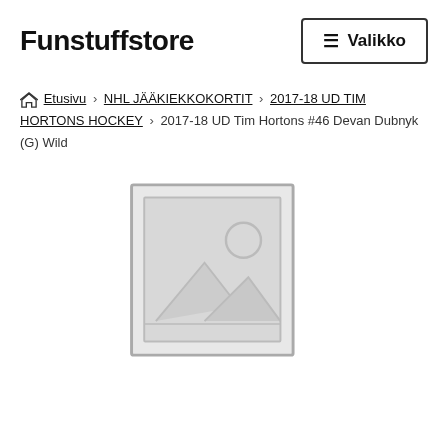Funstuffstore
≡ Valikko
Etusivu › NHL JÄÄKIEKKOKORTIT › 2017-18 UD TIM HORTONS HOCKEY › 2017-18 UD Tim Hortons #46 Devan Dubnyk (G) Wild
[Figure (illustration): Placeholder image with grey border showing a mountain and sun icon, indicating no product image is available.]